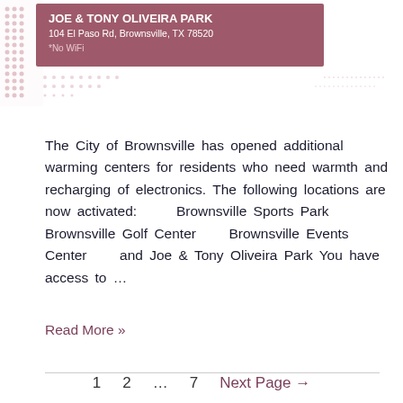[Figure (infographic): Mauve/rose colored banner with park name, address and no WiFi notice, with dot pattern decoration]
The City of Brownsville has opened additional warming centers for residents who need warmth and recharging of electronics. The following locations are now activated:      Brownsville Sports Park  Brownsville Golf Center      Brownsville Events Center      and Joe & Tony Oliveira Park You have access to …
Read More »
1   2   ...   7   Next Page →
Search